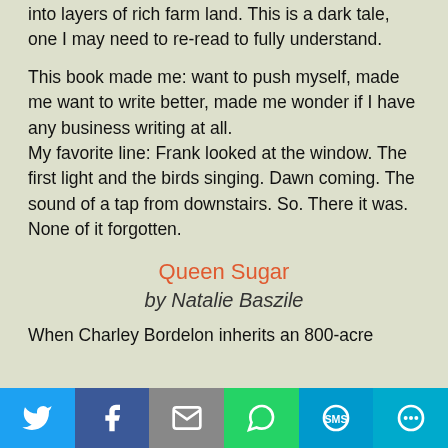into layers of rich farm land. This is a dark tale, one I may need to re-read to fully understand.
This book made me: want to push myself, made me want to write better, made me wonder if I have any business writing at all.
My favorite line: Frank looked at the window. The first light and the birds singing. Dawn coming. The sound of a tap from downstairs. So. There it was. None of it forgotten.
Queen Sugar
by Natalie Baszile
When Charley Bordelon inherits an 800-acre